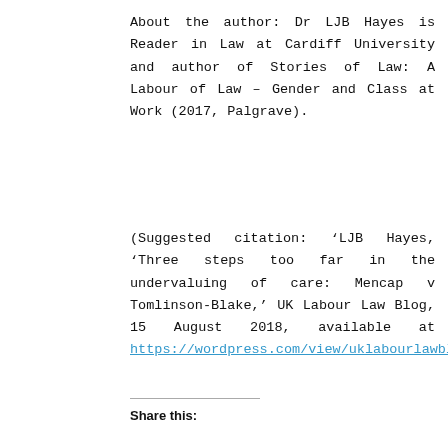About the author: Dr LJB Hayes is Reader in Law at Cardiff University and author of Stories of Law: A Labour of Law – Gender and Class at Work (2017, Palgrave).
(Suggested citation: ‘LJB Hayes, ‘Three steps too far in the undervaluing of care: Mencap v Tomlinson-Blake,’ UK Labour Law Blog, 15 August 2018, available at https://wordpress.com/view/uklabourlawblog.com
Share this: